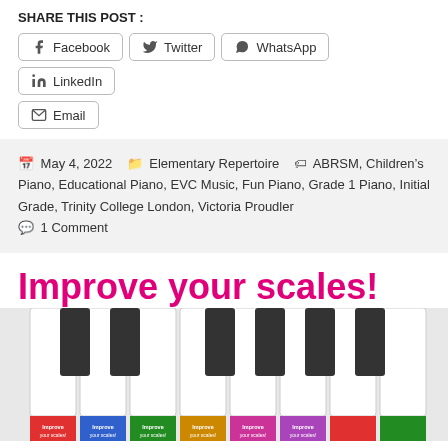SHARE THIS POST :
Facebook | Twitter | WhatsApp | LinkedIn | Email
May 4, 2022  Elementary Repertoire  ABRSM, Children's Piano, Educational Piano, EVC Music, Fun Piano, Grade 1 Piano, Initial Grade, Trinity College London, Victoria Proudler  1 Comment
[Figure (photo): Advertisement banner showing 'Improve your scales!' in magenta text over a close-up photo of piano keys with colorful scale book covers at the bottom.]